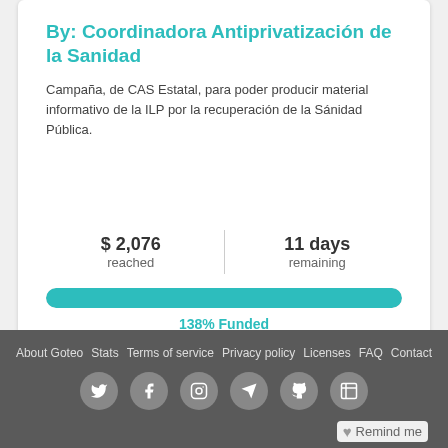By: Coordinadora Antiprivatización de la Sanidad
Campaña, de CAS Estatal, para poder producir material informativo de la ILP por la recuperación de la Sánidad Pública.
$ 2,076
reached

11 days
remaining

138% Funded
[Figure (infographic): Progress bar showing 138% funded in teal color]
About Goteo  Stats  Terms of service  Privacy policy  Licenses  FAQ  Contact